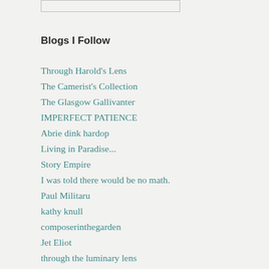Blogs I Follow
Through Harold's Lens
The Camerist's Collection
The Glasgow Gallivanter
IMPERFECT PATIENCE
Abrie dink hardop
Living in Paradise...
Story Empire
I was told there would be no math.
Paul Militaru
kathy knull
composerinthegarden
Jet Eliot
through the luminary lens
derrickjknight